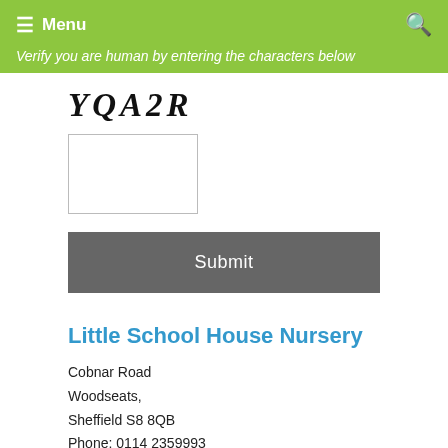Menu
Verify you are human by entering the characters below
[Figure (other): CAPTCHA image displaying distorted text: YQA2R]
[Figure (other): Text input box for CAPTCHA entry]
Submit
Little School House Nursery
Cobnar Road
Woodseats,
Sheffield S8 8QB
Phone: 0114 2359993